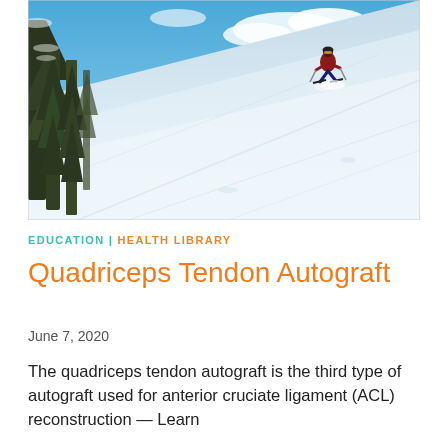[Figure (photo): A skier in a red jacket carving down a steep, deep-powder snow slope surrounded by snow-covered pine trees, with a mountain valley and blue sky visible in the background.]
EDUCATION | HEALTH LIBRARY
Quadriceps Tendon Autograft
June 7, 2020
The quadriceps tendon autograft is the third type of autograft used for anterior cruciate ligament (ACL) reconstruction — Learn